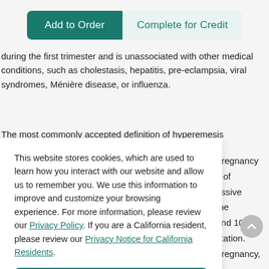[Figure (screenshot): Two UI buttons: 'Add to Order' (teal filled) and 'Complete for Credit' (light teal outlined)]
during the first trimester and is unassociated with other medical conditions, such as cholestasis, hepatitis, pre-eclampsia, viral syndromes, Ménière disease, or influenza.
The most commonly accepted definition of hyperemesis gravidarum is a severe form of nausea with vomiting, with weight loss more than 5% from pregnancy ... s of ... essive ... the ... and 10 ... station. ... pregnancy,
This website stores cookies, which are used to learn how you interact with our website and allow us to remember you. We use this information to improve and customize your browsing experience. For more information, please review our Privacy Policy. If you are a California resident, please review our Privacy Notice for California Residents.
[Figure (other): Accept button (teal rounded rectangle)]
[Figure (other): Scroll-to-top circular grey button with upward chevron]